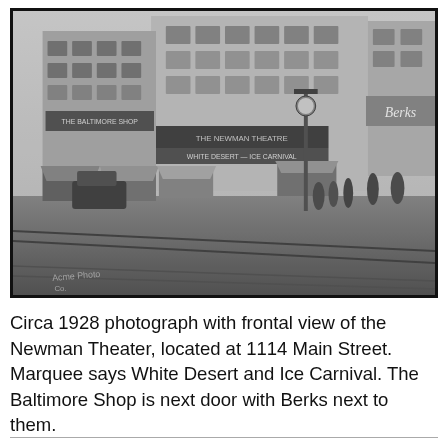[Figure (photo): Circa 1928 black and white photograph showing a frontal street-level view of the Newman Theater at 1114 Main Street, with trolley tracks visible in the foreground, storefronts including The Baltimore Shop and Berks visible along the block, awnings over the storefronts, and pedestrians on the sidewalk.]
Circa 1928 photograph with frontal view of the Newman Theater, located at 1114 Main Street. Marquee says White Desert and Ice Carnival. The Baltimore Shop is next door with Berks next to them.